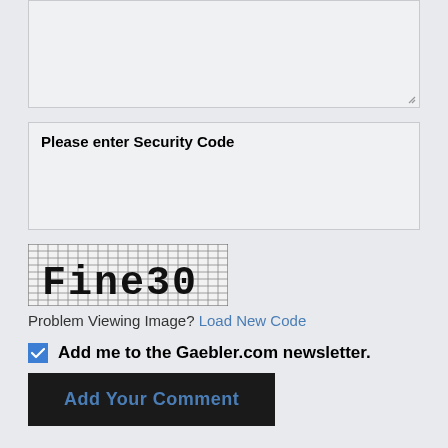[Figure (screenshot): Text area input box (empty), with resize handle at bottom right]
Please enter Security Code
[Figure (screenshot): CAPTCHA image showing text 'Fine30' in a grid/crosshatch pattern with dark background]
Problem Viewing Image? Load New Code
Add me to the Gaebler.com newsletter.
Add Your Comment
All comments will be reviewed and will be posted at the discretion of Gaebler.com.